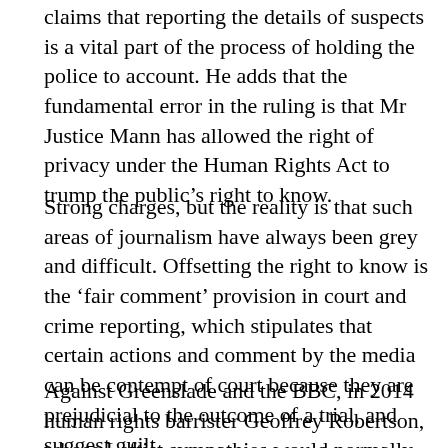claims that reporting the details of suspects is a vital part of the process of holding the police to account. He adds that the fundamental error in the ruling is that Mr Justice Mann has allowed the right of privacy under the Human Rights Act to trump the public's right to know.
Strong charges, but the reality is that such areas of journalism have always been grey and difficult. Offsetting the right to know is the 'fair comment' provision in court and crime reporting, which stipulates that certain actions and comment by the media can be contempt of court because they are prejudicial to the outcome of a trial, and suggest guilt.
Against Greenslade and the BBC, in 2014 human rights barrister Geoffrey Robertson, whose Leftist sympathies would normally make him an ally of the Corporation and the